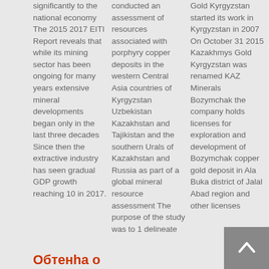significantly to the national economy The 2015 2017 EITI Report reveals that while its mining sector has been ongoing for many years extensive mineral developments began only in the last three decades Since then the extractive industry has seen gradual GDP growth reaching 10 in 2017.
conducted an assessment of resources associated with porphyry copper deposits in the western Central Asia countries of Kyrgyzstan Uzbekistan Kazakhstan and Tajikistan and the southern Urals of Kazakhstan and Russia as part of a global mineral resource assessment The purpose of the study was to 1 delineate
Gold Kyrgyzstan started its work in Kyrgyzstan in 2007 On October 31 2015 Kazakhmys Gold Kyrgyzstan was renamed KAZ Minerals Bozymchak the company holds licenses for exploration and development of Bozymchak copper gold deposit in Ala Buka district of Jalal Abad region and other licenses
Обтенha o